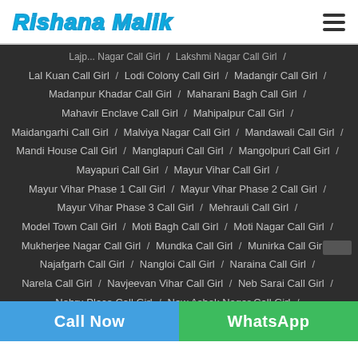Rishana Malik
Lal Kuan Call Girl / Lodi Colony Call Girl / Madangir Call Girl /
Madanpur Khadar Call Girl / Maharani Bagh Call Girl /
Mahavir Enclave Call Girl / Mahipalpur Call Girl /
Maidangarhi Call Girl / Malviya Nagar Call Girl / Mandawali Call Girl /
Mandi House Call Girl / Manglapuri Call Girl / Mangolpuri Call Girl /
Mayapuri Call Girl / Mayur Vihar Call Girl /
Mayur Vihar Phase 1 Call Girl / Mayur Vihar Phase 2 Call Girl /
Mayur Vihar Phase 3 Call Girl / Mehrauli Call Girl /
Model Town Call Girl / Moti Bagh Call Girl / Moti Nagar Call Girl /
Mukherjee Nagar Call Girl / Mundka Call Girl / Munirka Call Girl /
Najafgarh Call Girl / Nangloi Call Girl / Naraina Call Girl /
Narela Call Girl / Navjeevan Vihar Call Girl / Neb Sarai Call Girl /
Nehru Place Call Girl / New Ashok Nagar Call Girl /
Call Now | WhatsApp